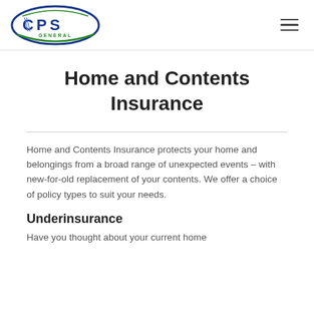[Figure (logo): CPS General Insurance logo — oval shape with blue and green lines, CPS text in blue with GENERAL underneath]
Home and Contents Insurance
Home and Contents Insurance protects your home and belongings from a broad range of unexpected events – with new-for-old replacement of your contents. We offer a choice of policy types to suit your needs.
Underinsurance
Have you thought about your current home